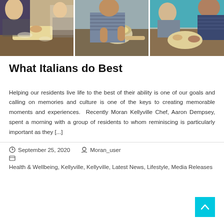[Figure (photo): Three side-by-side photos showing people making pasta/dough at a kitchen counter]
What Italians do Best
Helping our residents live life to the best of their ability is one of our goals and calling on memories and culture is one of the keys to creating memorable moments and experiences.  Recently Moran Kellyville Chef, Aaron Dempsey, spent a morning with a group of residents to whom reminiscing is particularly important as they [...]
September 25, 2020   Moran_user
Health & Wellbeing, Kellyville, Kellyville, Latest News, Lifestyle, Media Releases